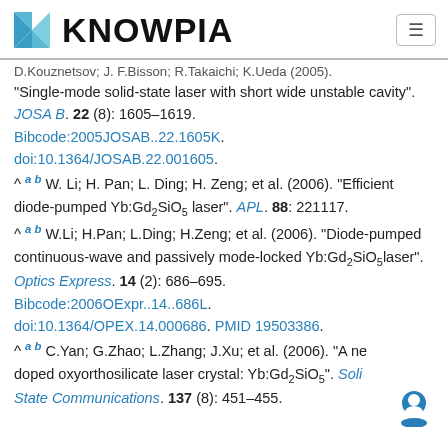KNOWPIA
D.Kouznetsov; J. F. Bisson; R. Takaichi; K.Ueda (2005). "Single-mode solid-state laser with short wide unstable cavity". JOSA B. 22 (8): 1605–1619. Bibcode:2005JOSAB..22.1605K. doi:10.1364/JOSAB.22.001605.
^ a b W. Li; H. Pan; L. Ding; H. Zeng; et al. (2006). "Efficient diode-pumped Yb:Gd2SiO5 laser". APL. 88: 221117.
^ a b W.Li; H.Pan; L.Ding; H.Zeng; et al. (2006). "Diode-pumped continuous-wave and passively mode-locked Yb:Gd2SiO5laser". Optics Express. 14 (2): 686–695. Bibcode:2006OExpr..14..686L. doi:10.1364/OPEX.14.000686. PMID 19503386.
^ a b C.Yan; G.Zhao; L.Zhang; J.Xu; et al. (2006). "A ne doped oxyorthosilicate laser crystal: Yb:Gd2SiO5". Solid State Communications. 137 (8): 451–455.